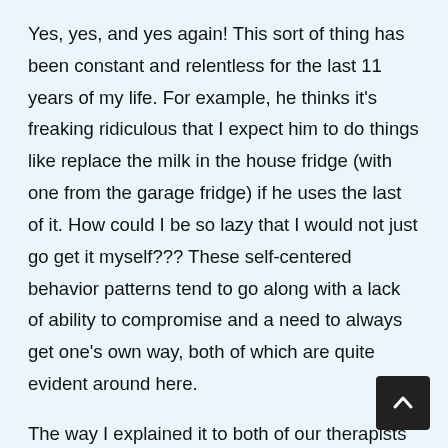Yes, yes, and yes again! This sort of thing has been constant and relentless for the last 11 years of my life. For example, he thinks it's freaking ridiculous that I expect him to do things like replace the milk in the house fridge (with one from the garage fridge) if he uses the last of it. How could I be so lazy that I would not just go get it myself??? These self-centered behavior patterns tend to go along with a lack of ability to compromise and a need to always get one's own way, both of which are quite evident around here.
The way I explained it to both of our therapists is that I feel like both of us are overly focused on his needs and no-one is paying enough attention to mine. Because I do consider him in everything I do;